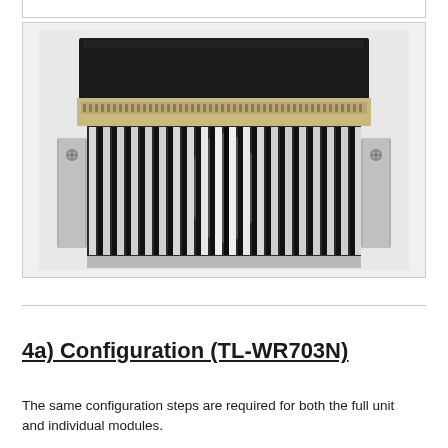[Figure (photo): Front view of an electronic module/heatsink assembly. The device has a black top section with a multi-pin connector (beige/tan colored, wide ZIF or card-edge connector) along its upper face. Below is a large aluminum heatsink with numerous vertical fins, and mounting flanges on the left and right sides.]
4a) Configuration (TL-WR703N)
The same configuration steps are required for both the full unit and individual modules.